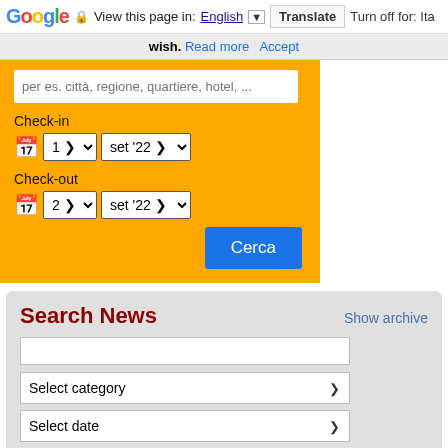Google  View this page in: English [▼]  Translate  Turn off for: Ita
wish.  Read more  Accept
per es. città, regione, quartiere, hotel, ...
Check-in
1  set '22
Check-out
2  set '22
Cerca
Search News
Show archive
Select category
Select date
Select area  Select city  Search